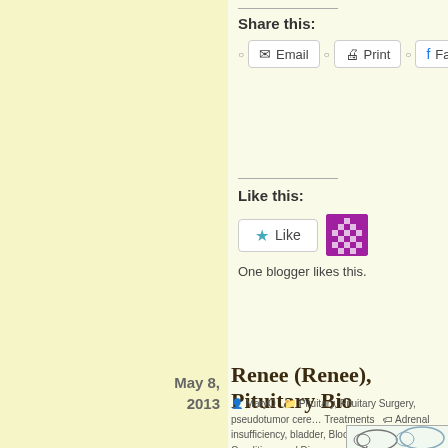Share this:
Email  Print  Facebook  Twit
Like this:
Like
One blogger likes this.
May 8, 2013
Renee (Renee), Pituitary Bio
MaryO  Pituitary, Pituitary Surgery, pseudotumor cere… Treatments  Adrenal insufficiency, bladder, Blood test, Bu… Conditions and Diseases, Cushing Syndrome, depression, De… aorta, Health, high cholesterol, hirsuitism, hydronephrosis, hy… suppression, irritability, Magnetic resonance imaging, moodin… weakness, pertussis, pituitary cyst, pseudotumor cerebri, Rath… striae, surgery, weight  1 Comment
[Figure (illustration): Partial view of a cartoon/illustration showing an elephant-like figure, visible at the bottom right of the page.]